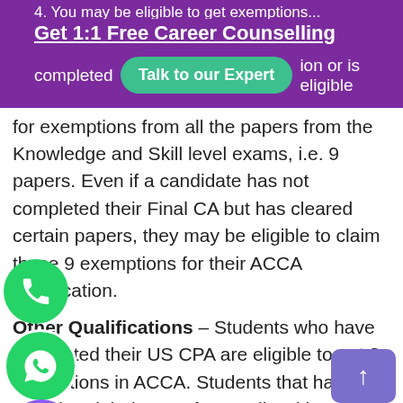Get 1:1 Free Career Counselling
completed — Talk to our Expert — ion or is eligible for exemptions from all the papers from the Knowledge and Skill level exams, i.e. 9 papers. Even if a candidate has not completed their Final CA but has cleared certain papers, they may be eligible to claim these 9 exemptions for their ACCA qualification.
Other Qualifications – Students who have completed their US CPA are eligible to get 8 exemptions in ACCA. Students that have completed their CMA from India with 5